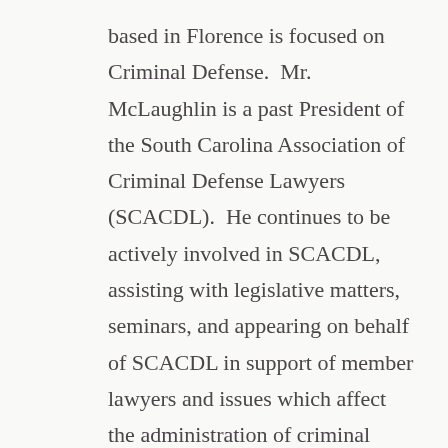based in Florence is focused on Criminal Defense.  Mr. McLaughlin is a past President of the South Carolina Association of Criminal Defense Lawyers (SCACDL).  He continues to be actively involved in SCACDL, assisting with legislative matters, seminars, and appearing on behalf of SCACDL in support of member lawyers and issues which affect the administration of criminal justice in South Carolina.
Attorney Meredith Weinberg works in the Columbia office of the prestigious